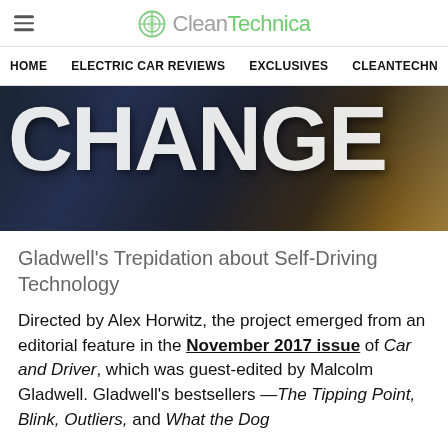CleanTechnica
HOME   ELECTRIC CAR REVIEWS   EXCLUSIVES   CLEANTECHN
[Figure (photo): Large bold white text reading CHANGE on a dark blurred automotive background with blue and golden hues]
Gladwell's Trepidation about Self-Driving Technology
Directed by Alex Horwitz, the project emerged from an editorial feature in the November 2017 issue of Car and Driver, which was guest-edited by Malcolm Gladwell. Gladwell's bestsellers —The Tipping Point, Blink, Outliers, and What the Dog